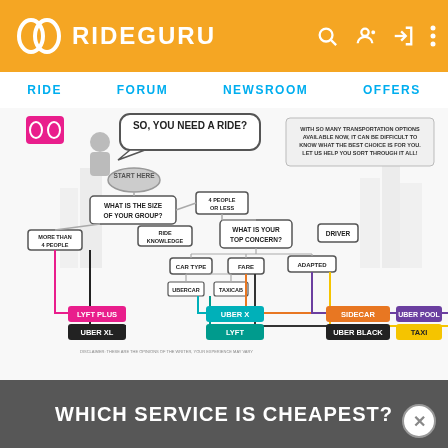RIDEGURU
RIDE   FORUM   NEWSROOM   OFFERS
[Figure (flowchart): RideGuru infographic flowchart titled 'So, You Need A Ride?' showing a decision tree to choose between Lyft Plus, Uber XL, Uber X, Lyft, Sidecar, Uber Black, Uber Pool, and Taxi based on group size, ride preference, car type/time/driver, and other factors.]
WHICH SERVICE IS CHEAPEST?